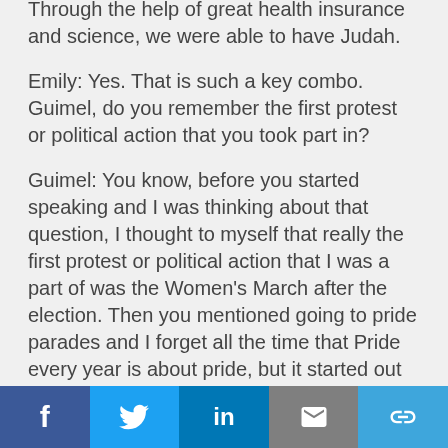Through the help of great health insurance and science, we were able to have Judah.
Emily: Yes. That is such a key combo. Guimel, do you remember the first protest or political action that you took part in?
Guimel: You know, before you started speaking and I was thinking about that question, I thought to myself that really the first protest or political action that I was a part of was the Women's March after the election. Then you mentioned going to pride parades and I forget all the time that Pride every year is about pride, but it started out as a riot and protest and so I've been going to Pride for a very long time. My
Social share bar: Facebook, Twitter, LinkedIn, Email, Link